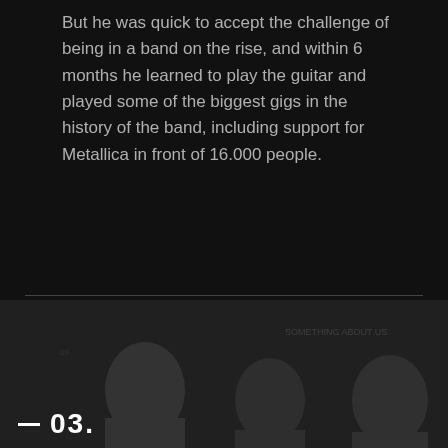But he was quick to accept the challenge of being in a band on the rise, and within 6 months he learned to play the guitar and played some of the biggest gigs in the history of the band, including support for Metallica in front of 16.000 people.
[Figure (photo): Dark background section showing silhouettes or partial figures of people, with a large number '03.' displayed in the bottom-left corner preceded by a short horizontal dash.]